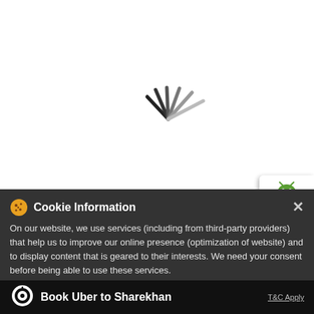[Figure (screenshot): White loading area with spinning loader animation (dark radiating lines like a loading spinner)]
[Figure (screenshot): App store buttons panel on the right side: Android (green robot icon) and Apple (Apple logo icon)]
Cookie Information
On our website, we use services (including from third-party providers) that help us to improve our online presence (optimization of website) and to display content that is geared to their interests. We need your consent before being able to use these services.
#IPOAlert  Syrma SGS Technology IPO will open from Aug 12 to 18.
Book Uber to Sharekhan
T&C Apply